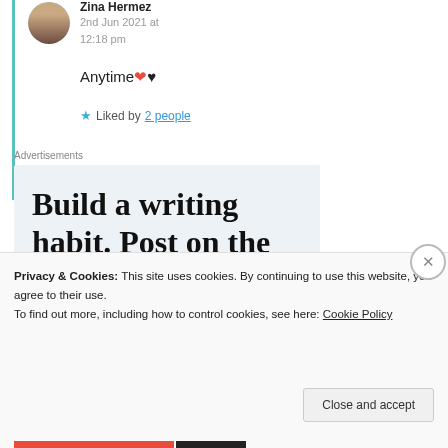Zina Hermez
2nd Jun 2021 at 12:18 pm
Anytime ❤♥
★ Liked by 2 people
Advertisements
[Figure (other): Advertisement banner: Build a writing habit. Post on the go.]
Privacy & Cookies: This site uses cookies. By continuing to use this website, you agree to their use. To find out more, including how to control cookies, see here: Cookie Policy
Close and accept